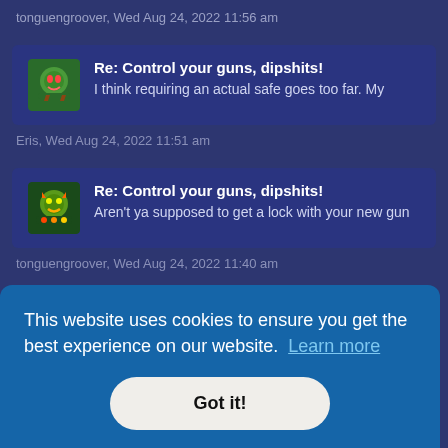tonguengroover, Wed Aug 24, 2022 11:56 am
Re: Control your guns, dipshits! I think requiring an actual safe goes too far. My
Eris, Wed Aug 24, 2022 11:51 am
Re: Control your guns, dipshits! Aren't ya supposed to get a lock with your new gun
tonguengroover, Wed Aug 24, 2022 11:40 am
This website uses cookies to ensure you get the best experience on our website. Learn more
Got it!
e team